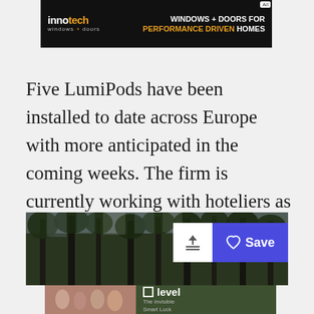[Figure (screenshot): Innotech windows + doors advertisement banner with dark background. Text reads WINDOWS + DOORS FOR PERFORMANCE DRIVEN HOMES]
Five LumiPods have been installed to date across Europe with more anticipated in the coming weeks. The firm is currently working with hoteliers as well.
[Figure (photo): Forest/trees photo with upload and Save buttons overlaid. Below is a Level smart lock advertisement.]